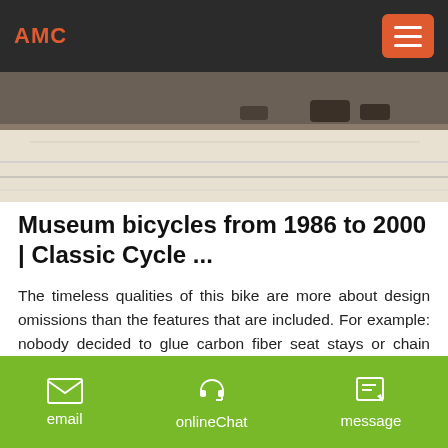AMC
[Figure (photo): A partial overhead photo of what appears to be a velodrome or cycling track surface with some bicycles visible in the background.]
Museum bicycles from 1986 to 2000 | Classic Cycle ...
The timeless qualities of this bike are more about design omissions than the features that are included. For example: nobody decided to glue carbon fiber seat stays or chain stays into an otherwise all-titanium frame; a common practice in this era intended to make aluminum bikes seem more comfortable, steel bikes to seem lighter weight and dull grey titanium bikes to seem more interesting.
email   onlineChat   message